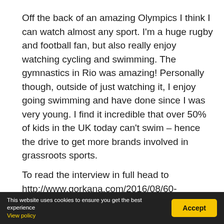Off the back of an amazing Olympics I think I can watch almost any sport. I'm a huge rugby and football fan, but also really enjoy watching cycling and swimming. The gymnastics in Rio was amazing! Personally though, outside of just watching it, I enjoy going swimming and have done since I was very young. I find it incredible that over 50% of kids in the UK today can't swim – hence the drive to get more brands involved in grassroots sports.
To read the interview in full head to http://www.gorkana.com/2016/08/60-seconds-with-gemma-oakes-mercieca/
This website uses cookies to ensure you get the best experience View policy  Accept